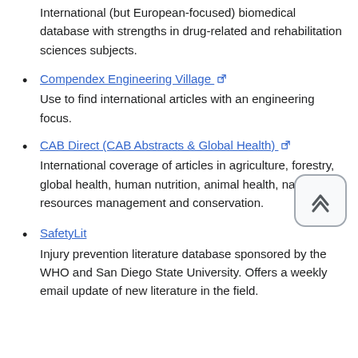International (but European-focused) biomedical database with strengths in drug-related and rehabilitation sciences subjects.
Compendex Engineering Village
Use to find international articles with an engineering focus.
CAB Direct (CAB Abstracts & Global Health)
International coverage of articles in agriculture, forestry, global health, human nutrition, animal health, natural resources management and conservation.
SafetyLit
Injury prevention literature database sponsored by the WHO and San Diego State University. Offers a weekly email update of new literature in the field.